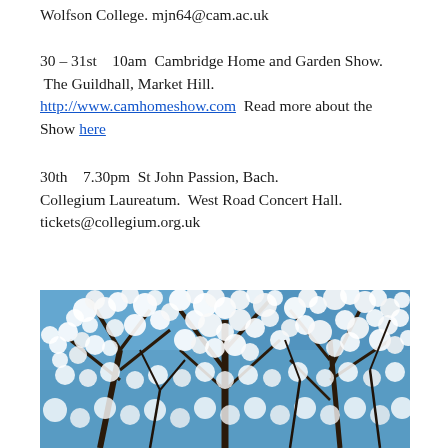Wolfson College.  mjn64@cam.ac.uk
30 – 31st   10am  Cambridge Home and Garden Show.  The Guildhall, Market Hill.  http://www.camhomeshow.com  Read more about the Show here
30th    7.30pm  St John Passion, Bach.  Collegium Laureatum.  West Road Concert Hall.  tickets@collegium.org.uk
[Figure (photo): Photo of a tree covered in white spring blossoms against a blue sky, branches visible through the flowers.]